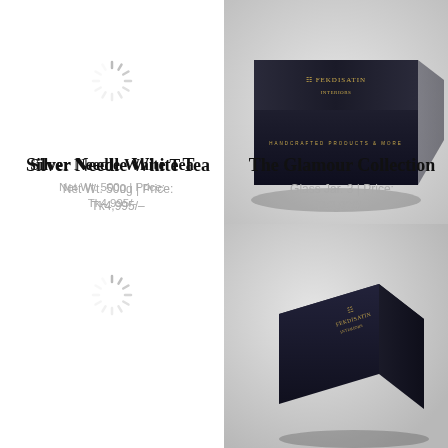[Figure (photo): Loading spinner icon (gray radial lines) in top-left product cell]
[Figure (photo): Dark navy/black gift box with gold logo text (Fekdisatin branding) on a gray gradient background, top view]
Silver Needle White Tea
Net Wt. 500g | Price: Tk4,995/-
The Glamour Collection
Glass Jar. 3 | Price: Tk3,000/-
[Figure (photo): Loading spinner icon (gray radial lines) in bottom-left product cell]
[Figure (photo): Dark navy/black square gift box with gold logo (Fekdisatin branding) shown at angle on gray gradient background, bottom-right cell]